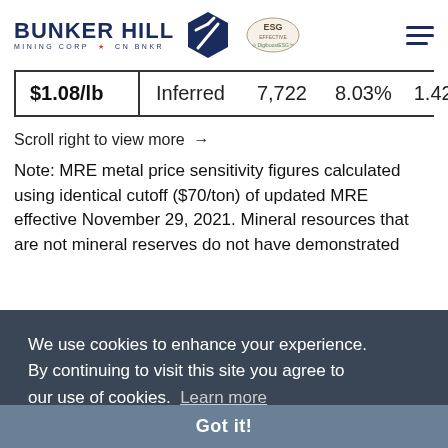[Figure (logo): Bunker Hill Mining Corp logo with mountain/pickaxe icon, ESG badge, and DigiboostESG text]
| Price | Category | Value1 | Value2 | Value3 |
| --- | --- | --- | --- | --- |
| $1.08/lb | Inferred | 7,722 | 8.03% | 1.42 |
Scroll right to view more →
Note: MRE metal price sensitivity figures calculated using identical cutoff ($70/ton) of updated MRE effective November 29, 2021. Mineral resources that are not mineral reserves do not have demonstrated economic viability. The quantity and grade of reported inferred resources in this estimation are uncertain in nature and there has been insufficient exploration to define these inferred resources as an indicated or measured mineral resource, and it is uncertain if further exploration will result in upgrading them to be categorized as mineral reserves. There is also no
We use cookies to enhance your experience. By continuing to visit this site you agree to our use of cookies. Learn more
Got it!